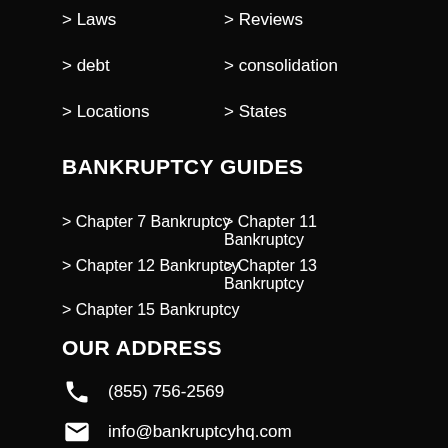> Laws
> Reviews
> debt
> consolidation
> Locations
> States
BANKRUPTCY GUIDES
> Chapter 7 Bankruptcy
> Chapter 11 Bankruptcy
> Chapter 12 Bankruptcy
> Chapter 13 Bankruptcy
> Chapter 15 Bankruptcy
OUR ADDRESS
(855) 756-2569
info@bankruptcyhq.com